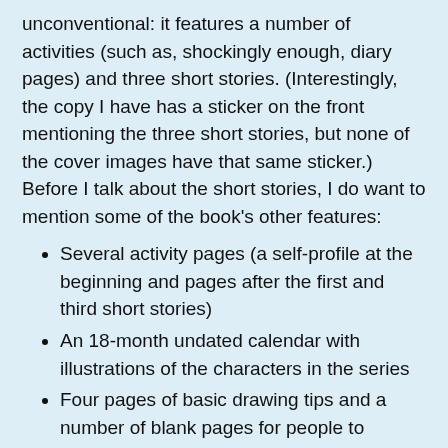unconventional: it features a number of activities (such as, shockingly enough, diary pages) and three short stories. (Interestingly, the copy I have has a sticker on the front mentioning the three short stories, but none of the cover images have that same sticker.) Before I talk about the short stories, I do want to mention some of the book's other features:
Several activity pages (a self-profile at the beginning and pages after the first and third short stories)
An 18-month undated calendar with illustrations of the characters in the series
Four pages of basic drawing tips and a number of blank pages for people to practice their own drawings (some of the spaces have drawing prompts) (also, two pages of tips are at the end, after the blank pages)
Lined pages for use as a diary after the second short story
Four pages to write down/draw your favorite people
A super-adorable sticker sheet at the end of the book